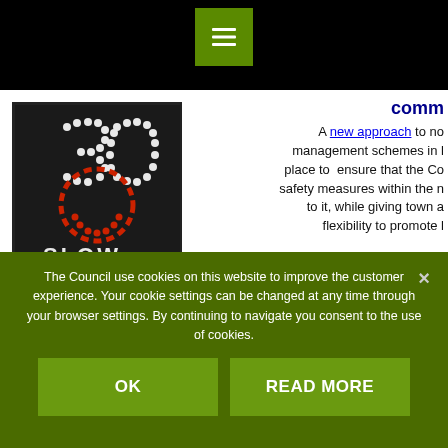[Figure (photo): LED dot-matrix road sign showing '30' speed limit with smiley face and text 'SLOW DOWN' in red and white dots on dark background]
comm…
A new approach to no… management schemes in … place to ensure that the Co… safety measures within the … to it, while giving town a… flexibility to promote l… communities, which they can fully fund t…
A new system has been put in place, whereby if a sche… County Council on proven safety grounds, town and …
The Council use cookies on this website to improve the customer experience. Your cookie settings can be changed at any time through your browser settings. By continuing to navigate you consent to the use of cookies.
OK
READ MORE